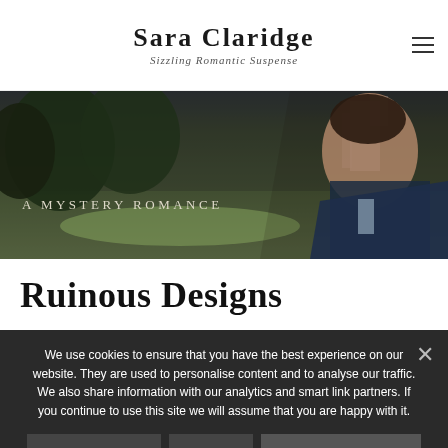Sara Claridge — Sizzling Romantic Suspense
[Figure (photo): Hero banner image showing a handsome man in a suit standing before a château/castle with gardens and trees, overlaid with text 'A Mystery Romance']
Ruinous Designs
We use cookies to ensure that you have the best experience on our website. They are used to personalise content and to analyse our traffic. We also share information with our analytics and smart link partners. If you continue to use this site we will assume that you are happy with it.
Okay
No
Read more